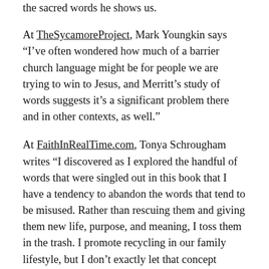the sacred words he shows us.
At TheSycamoreProject, Mark Youngkin says "I've often wondered how much of a barrier church language might be for people we are trying to win to Jesus, and Merritt's study of words suggests it's a significant problem there and in other contexts, as well."
At FaithInRealTime.com, Tonya Schrougham writes "I discovered as I explored the handful of words that were singled out in this book that I have a tendency to abandon the words that tend to be misused. Rather than rescuing them and giving them new life, purpose, and meaning, I toss them in the trash. I promote recycling in our family lifestyle, but I don't exactly let that concept completely permeate my life."
At AMysteriousWay.org, Alex Steward says "Many of the words have been co-opted to serve our own purposes